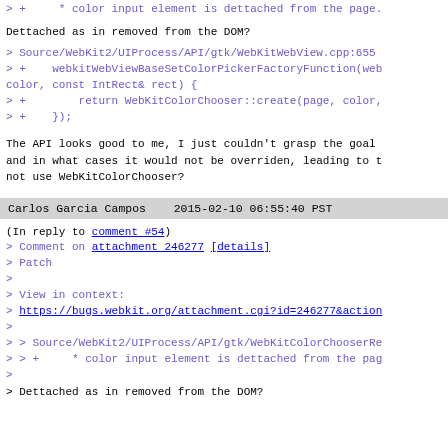> +     * color input element is dettached from the page.
Dettached as in removed from the DOM?
> Source/WebKit2/UIProcess/API/gtk/WebKitWebView.cpp:655
> +    webkitWebViewBaseSetColorPickerFactoryFunction(web
color, const IntRect& rect) {
> +        return WebKitColorChooser::create(page, color,
> +    });
The API looks good to me, I just couldn't grasp the goal
and in what cases it would not be overriden, leading to t
not use WebKitColorChooser?
Carlos Garcia Campos    2015-02-10 06:55:40 PST
(In reply to comment #54)
> Comment on attachment 246277 [details]
> Patch
>
> View in context:
> https://bugs.webkit.org/attachment.cgi?id=246277&action
>
> > Source/WebKit2/UIProcess/API/gtk/WebKitColorChooserRe
> > +     * color input element is dettached from the pag
>
> Dettached as in removed from the DOM?